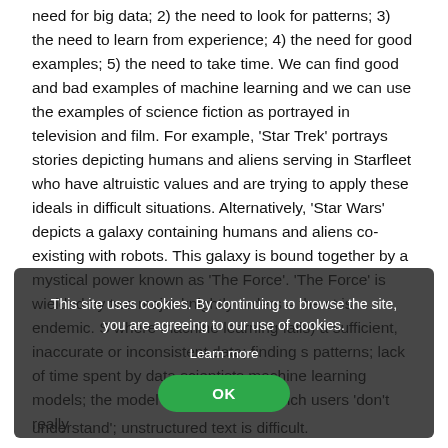need for big data; 2) the need to look for patterns; 3) the need to learn from experience; 4) the need for good examples; 5) the need to take time. We can find good and bad examples of machine learning and we can use the examples of science fiction as portrayed in television and film. For example, 'Star Trek' portrays stories depicting humans and aliens serving in Starfleet who have altruistic values and are trying to apply these ideals in difficult situations. Alternatively, 'Star Wars' depicts a galaxy containing humans and aliens co-existing with robots. This galaxy is bound together by a mystical power known as 'The Force'. 'The Force' is wielded by two major knightly orders – the [cookie overlay obscures text] is endemic. So [cookie overlay obscures text] where machine learning fails) a[cookie overlay obscures text]sufficient, inaccurate or inconsistent data; finding [cookie overlay obscures text]s patterns; lack of time spent by data scientists [cookie overlay]machine learning models; the model is a 'black box' which users 'don't really understand'; unstructured text is difficult.
[Figure (screenshot): Cookie consent overlay popup with dark semi-transparent background. Text reads: 'This site uses cookies. By continuing to browse the site, you are agreeing to our use of cookies.' followed by a 'Learn more' link and a green oval 'OK' button.]